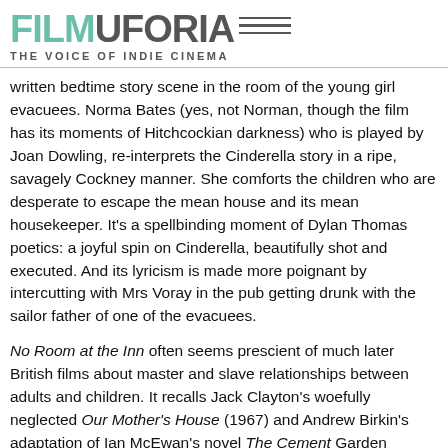FILMUFORIA — THE VOICE OF INDIE CINEMA
written bedtime story scene in the room of the young girl evacuees. Norma Bates (yes, not Norman, though the film has its moments of Hitchcockian darkness) who is played by Joan Dowling, re-interprets the Cinderella story in a ripe, savagely Cockney manner. She comforts the children who are desperate to escape the mean house and its mean housekeeper. It's a spellbinding moment of Dylan Thomas poetics: a joyful spin on Cinderella, beautifully shot and executed. And its lyricism is made more poignant by intercutting with Mrs Voray in the pub getting drunk with the sailor father of one of the evacuees.
No Room at the Inn often seems prescient of much later British films about master and slave relationships between adults and children. It recalls Jack Clayton's woefully neglected Our Mother's House (1967) and Andrew Birkin's adaptation of Ian McEwan's novel The Cement Garden (1993). They all contain seedy and claustrophobic forces about to explode into violent revenge. Without divulging the ending of No room at the Inn I